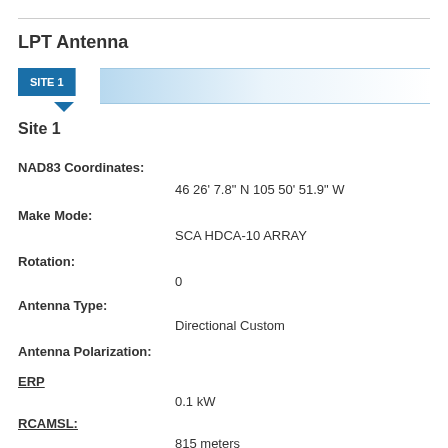LPT Antenna
[Figure (infographic): SITE 1 tab/button with blue background and arrow pointing down, followed by a horizontal blue gradient bar]
Site 1
NAD83 Coordinates:
46 26' 7.8" N 105 50' 51.9" W
Make Mode:
SCA HDCA-10 ARRAY
Rotation:
0
Antenna Type:
Directional Custom
Antenna Polarization:
ERP
0.1 kW
RCAMSL:
815 meters